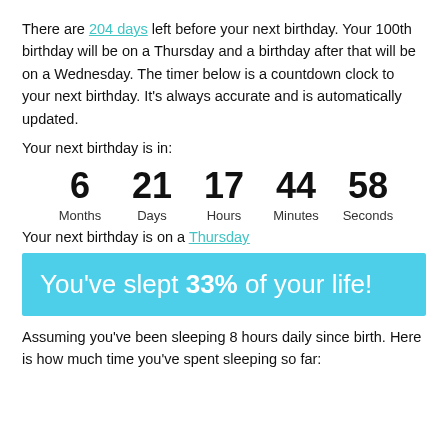There are 204 days left before your next birthday. Your 100th birthday will be on a Thursday and a birthday after that will be on a Wednesday. The timer below is a countdown clock to your next birthday. It's always accurate and is automatically updated.
Your next birthday is in:
[Figure (infographic): Countdown timer showing 6 Months, 21 Days, 17 Hours, 44 Minutes, 58 Seconds]
Your next birthday is on a Thursday
You've slept 33% of your life!
Assuming you've been sleeping 8 hours daily since birth. Here is how much time you've spent sleeping so far: